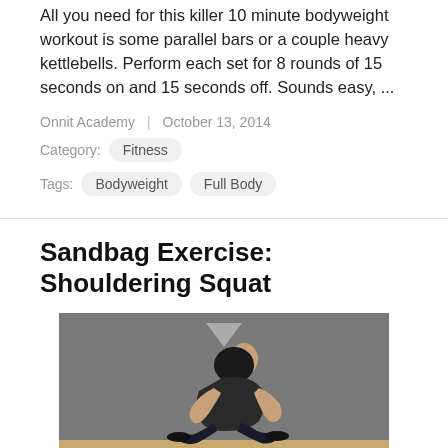All you need for this killer 10 minute bodyweight workout is some parallel bars or a couple heavy kettlebells. Perform each set for 8 rounds of 15 seconds on and 15 seconds off. Sounds easy, ...
Onnit Academy | October 13, 2014
Category: Fitness
Tags: Bodyweight  Full Body
Sandbag Exercise: Shouldering Squat
[Figure (photo): A man performing a sandbag shouldering squat exercise, crouching low with a sandbag on his back/shoulders, in a gym setting with a grey wall and wooden floor.]